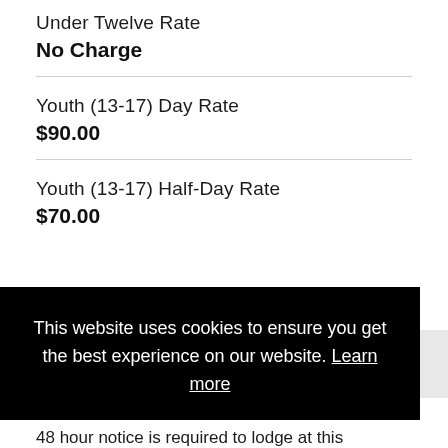Under Twelve Rate
No Charge
Youth (13-17) Day Rate
$90.00
Youth (13-17) Half-Day Rate
$70.00
This website uses cookies to ensure you get the best experience on our website. Learn more
Decline
Got it!
48 hour notice is required to lodge at this